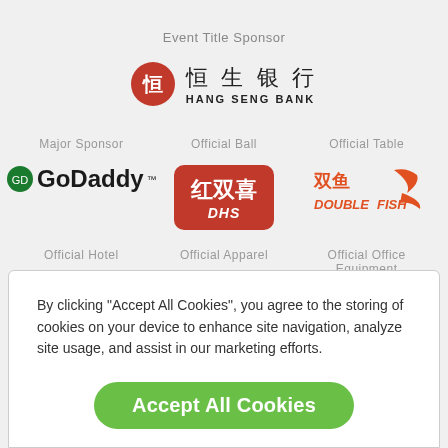Event Title Sponsor
[Figure (logo): Hang Seng Bank logo with red circular emblem and Chinese/English text]
Major Sponsor
[Figure (logo): GoDaddy logo]
Official Ball
[Figure (logo): DHS red double happiness ping pong ball logo with Chinese characters]
Official Table
[Figure (logo): Double Fish table tennis logo in orange/red]
Official Hotel
Official Apparel
Official Office Equipment
By clicking "Accept All Cookies", you agree to the storing of cookies on your device to enhance site navigation, analyze site usage, and assist in our marketing efforts.
Accept All Cookies